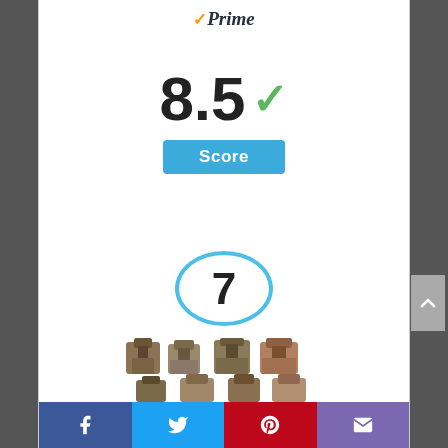[Figure (logo): Amazon Prime logo with orange checkmark and italic 'Prime' text]
8.5 ✓
Score
[Figure (infographic): Number 7 inside a blue circle]
[Figure (photo): Miniature figurines / village pieces arranged in rows]
[Figure (infographic): Social sharing bar with Facebook, Twitter, Pinterest, and Email buttons]